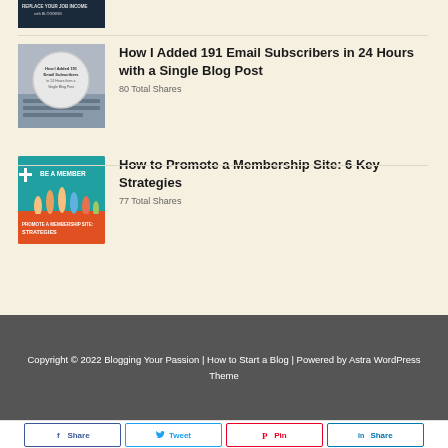[Figure (photo): Partial thumbnail of a blog post about replacing job income with blogging, showing text overlay on dark background]
[Figure (photo): Thumbnail for 'How I Added 191 Email Subscribers in 24 Hours from a Single Blog Post' showing a circular badge over a keyboard]
How I Added 191 Email Subscribers in 24 Hours with a Single Blog Post
80 Total Shares
[Figure (photo): Thumbnail for 'How to Promote a Membership Site: 6 Key Strategies' showing colorful hands raised with 'BE A MEMBER' text]
How to Promote a Membership Site: 6 Key Strategies
77 Total Shares
Copyright © 2022 Blogging Your Passion | How to Start a Blog | Powered by Astra WordPress Theme